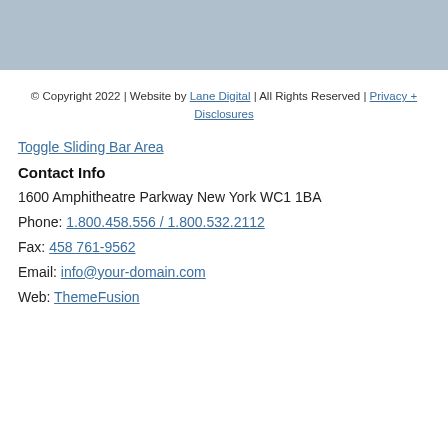[Figure (other): Light blue-grey rectangular image placeholder at the top of the page]
© Copyright 2022 | Website by Lane Digital | All Rights Reserved | Privacy + Disclosures
Toggle Sliding Bar Area
Contact Info
1600 Amphitheatre Parkway New York WC1 1BA
Phone: 1.800.458.556 / 1.800.532.2112
Fax: 458 761-9562
Email: info@your-domain.com
Web: ThemeFusion